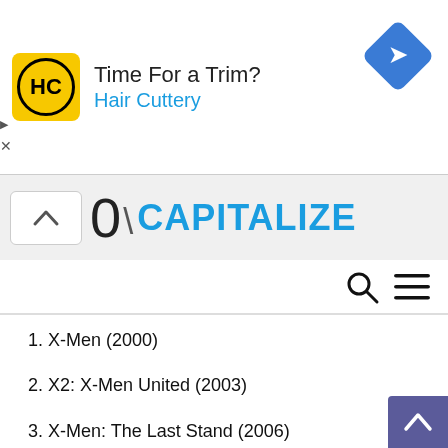[Figure (screenshot): Advertisement banner for Hair Cuttery with yellow logo, text 'Time For a Trim? Hair Cuttery' and blue navigation arrow icon on right]
[Figure (screenshot): Capitalize toolbar partial view with chevron up button, numeral 0, slash, and 'CAPITALIZE' in blue text]
[Figure (screenshot): Navigation bar with search icon and hamburger menu icon on right]
1. X-Men (2000)
2. X2: X-Men United (2003)
3. X-Men: The Last Stand (2006)
4. X-Men: First Class (2011)
5. X-Men Origins: Wolverine (2009)
6. The Wolverine (2013)
7. X-Men: Days of Future Past (2014)